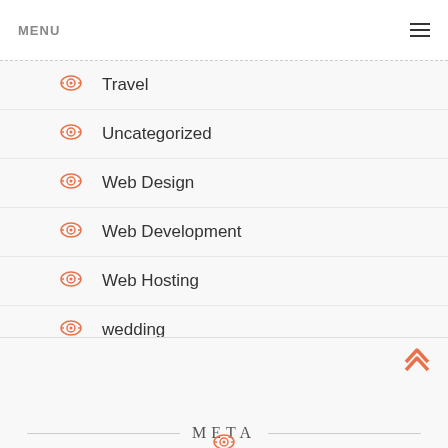MENU
Travel
Uncategorized
Web Design
Web Development
Web Hosting
wedding
META